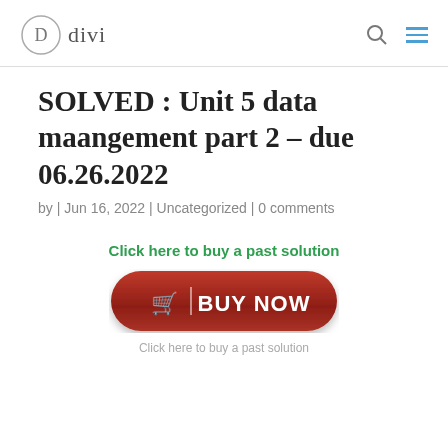D divi
SOLVED : Unit 5 data maangement part 2 – due 06.26.2022
by | Jun 16, 2022 | Uncategorized | 0 comments
Click here to buy a past solution
[Figure (other): Red BUY NOW button with shopping cart icon]
Click here to buy a past solution